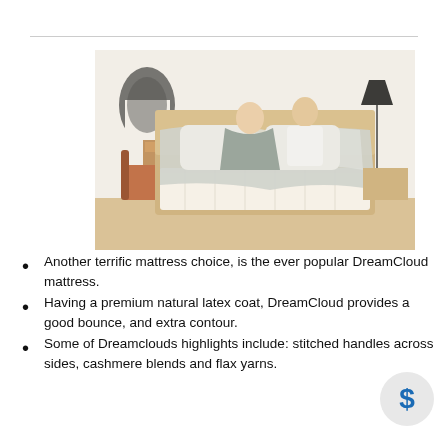[Figure (photo): A couple relaxing in bed with grey bedding on a DreamCloud mattress in a bright modern bedroom]
Another terrific mattress choice, is the ever popular DreamCloud mattress.
Having a premium natural latex coat, DreamCloud provides a good bounce, and extra contour.
Some of Dreamclouds highlights include: stitched handles across sides, cashmere blends and flax yarns.
DreamCloud also...